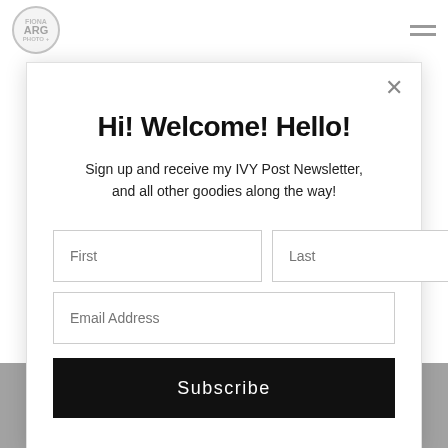[Figure (screenshot): Website header with circular ARG logo on left and hamburger menu icon on right]
Hi! Welcome! Hello!
Sign up and receive my IVY Post Newsletter, and all other goodies along the way!
First
Last
Email Address
Subscribe
[Figure (photo): Dark photograph visible at the bottom of the page behind the modal]